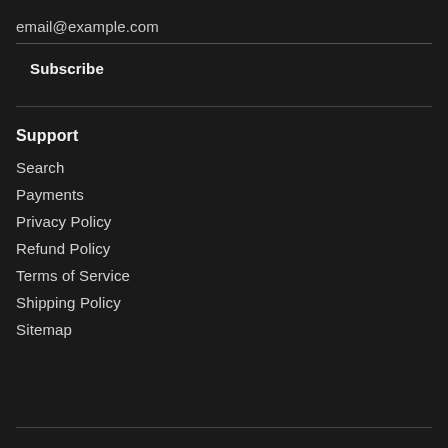email@example.com
Subscribe
Support
Search
Payments
Privacy Policy
Refund Policy
Terms of Service
Shipping Policy
Sitemap